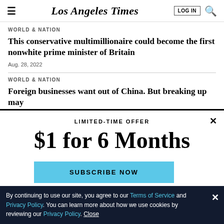Los Angeles Times
WORLD & NATION
This conservative multimillionaire could become the first nonwhite prime minister of Britain
Aug. 28, 2022
WORLD & NATION
Foreign businesses want out of China. But breaking up may
LIMITED-TIME OFFER
$1 for 6 Months
SUBSCRIBE NOW
By continuing to use our site, you agree to our Terms of Service and Privacy Policy. You can learn more about how we use cookies by reviewing our Privacy Policy. Close